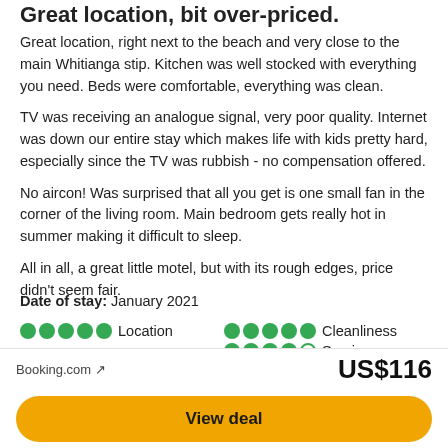Great location, bit over-priced.
Great location, right next to the beach and very close to the main Whitianga stip. Kitchen was well stocked with everything you need. Beds were comfortable, everything was clean.

TV was receiving an analogue signal, very poor quality. Internet was down our entire stay which makes life with kids pretty hard, especially since the TV was rubbish - no compensation offered.

No aircon! Was surprised that all you get is one small fan in the corner of the living room. Main bedroom gets really hot in summer making it difficult to sleep.

All in all, a great little motel, but with its rough edges, price didn't seem fair.
Date of stay: January 2021
Location (5 dots), Cleanliness (5 dots), Service (4.5 dots)
Booking.com ↗  US$116
View deal